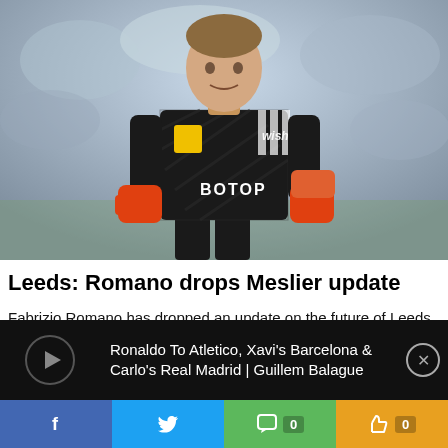[Figure (photo): Leeds United goalkeeper Illan Meslier in black goalkeeper kit with orange gloves, blurred crowd background]
Leeds: Romano drops Meslier update
Fabrizio Romano has dropped an update on the future of Leeds United goalkeeper Illan Meslier.
Football Fan Cast
[Figure (screenshot): Advertisement banner: Ronaldo To Atletico, Xavi's Barcelona & Carlo's Real Madrid | Guillem Balague]
[Figure (infographic): Social media share bar with Facebook, Twitter, comment count 0, and like count 0 buttons]